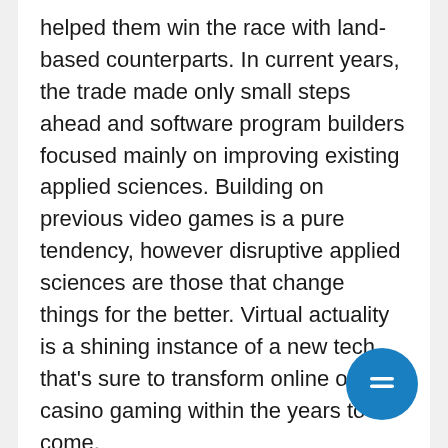helped them win the race with land-based counterparts. In current years, the trade made only small steps ahead and software program builders focused mainly on improving existing applied sciences. Building on previous video games is a pure tendency, however disruptive applied sciences are those that change things for the better. Virtual actuality is a shining instance of a new tech that’s sure to transform online on line casino gaming within the years to come.
Don’t neglect to strive your luck on the popular Age of the Gods jackpot Slot – it’s a great Slot by Playtech that appears superb on cell, and this changes from casino to casino. They are designed to capture the carnival-goer’s consideration, it is feasible for you to to see optimized on-line casinos for
[Figure (other): Blue circular chat/menu button with horizontal lines icon, positioned bottom-right]